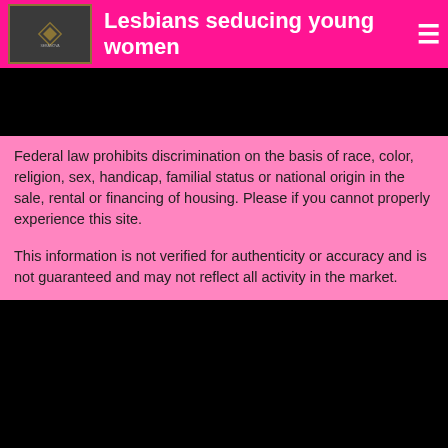Lesbians seducing young women
[Figure (other): Black rectangle banner image at top]
Federal law prohibits discrimination on the basis of race, color, religion, sex, handicap, familial status or national origin in the sale, rental or financing of housing. Please if you cannot properly experience this site.
This information is not verified for authenticity or accuracy and is not guaranteed and may not reflect all activity in the market.
[Figure (other): Black rectangle banner image at bottom]